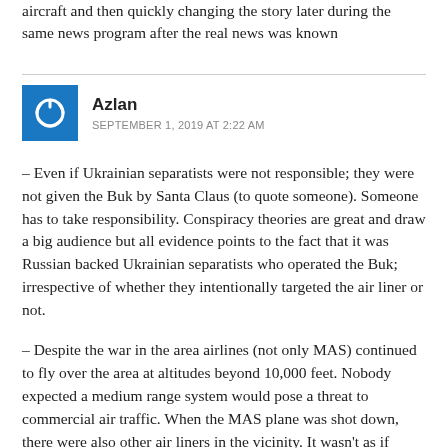aircraft and then quickly changing the story later during the same news program after the real news was known
Azlan
SEPTEMBER 1, 2019 AT 2:22 AM
– Even if Ukrainian separatists were not responsible; they were not given the Buk by Santa Claus (to quote someone). Someone has to take responsibility. Conspiracy theories are great and draw a big audience but all evidence points to the fact that it was Russian backed Ukrainian separatists who operated the Buk; irrespective of whether they intentionally targeted the air liner or not.
– Despite the war in the area airlines (not only MAS) continued to fly over the area at altitudes beyond 10,000 feet. Nobody expected a medium range system would pose a threat to commercial air traffic. When the MAS plane was shot down, there were also other air liners in the vicinity. It wasn't as if